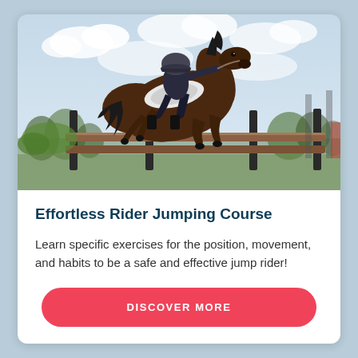[Figure (photo): A horse and rider mid-jump over a wooden fence/barrier at an equestrian event. The rider wears a helmet and dark outfit; the dark brown horse is fully airborne. Background shows cloudy sky and trees.]
Effortless Rider Jumping Course
Learn specific exercises for the position, movement, and habits to be a safe and effective jump rider!
DISCOVER MORE